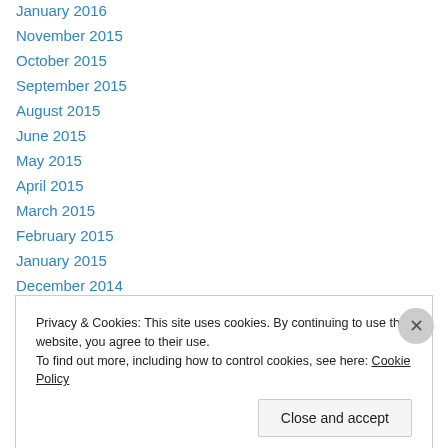January 2016
November 2015
October 2015
September 2015
August 2015
June 2015
May 2015
April 2015
March 2015
February 2015
January 2015
December 2014
November 2014
October 2014
Privacy & Cookies: This site uses cookies. By continuing to use this website, you agree to their use. To find out more, including how to control cookies, see here: Cookie Policy
Close and accept